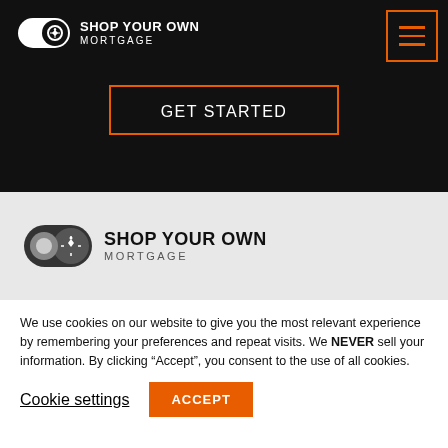[Figure (logo): Shop Your Own Mortgage logo with toggle/home icon in white on black background, top navigation bar]
[Figure (other): Hamburger menu icon — three horizontal orange lines in an orange-bordered square, top right corner]
GET STARTED
[Figure (logo): Shop Your Own Mortgage logo with large toggle/home icon on gray background]
We use cookies on our website to give you the most relevant experience by remembering your preferences and repeat visits. We NEVER sell your information. By clicking “Accept”, you consent to the use of all cookies.
Cookie settings
ACCEPT